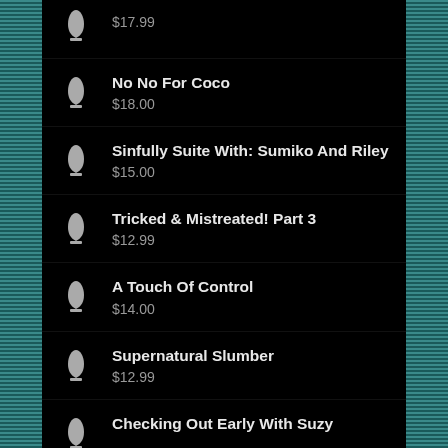$17.99
No No For Coco
$18.00
Sinfully Suite With: Sumiko And Riley
$15.00
Tricked & Mistreated! Part 3
$12.99
A Touch Of Control
$14.00
Supernatural Slumber
$12.99
Checking Out Early With Suzy